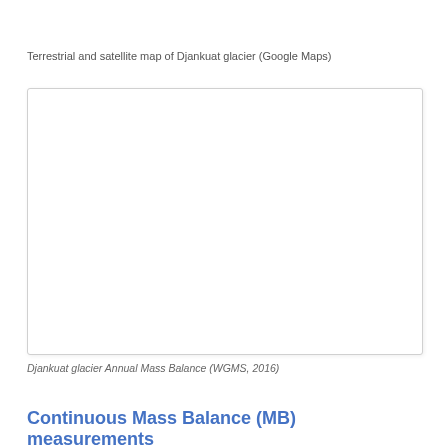Terrestrial and satellite map of Djankuat glacier (Google Maps)
[Figure (map): Blank white box representing a terrestrial and satellite map of Djankuat glacier from Google Maps (image not rendered)]
Djankuat glacier Annual Mass Balance (WGMS, 2016)
Continuous Mass Balance (MB) measurements